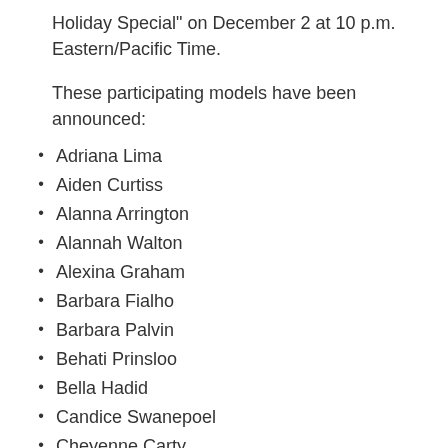Holiday Special" on December 2 at 10 p.m. Eastern/Pacific Time.
These participating models have been announced:
Adriana Lima
Aiden Curtiss
Alanna Arrington
Alannah Walton
Alexina Graham
Barbara Fialho
Barbara Palvin
Behati Prinsloo
Bella Hadid
Candice Swanepoel
Cheyenne Carty
Cindy Bruna
Devon Windsor